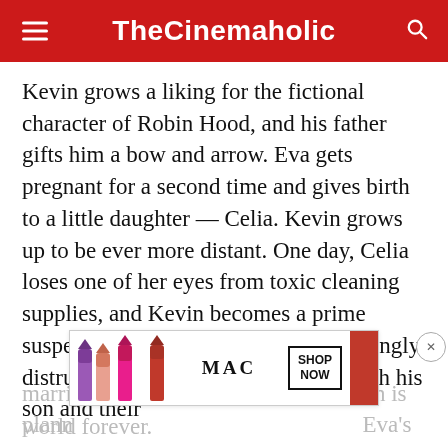TheCinemaholic
Kevin grows a liking for the fictional character of Robin Hood, and his father gifts him a bow and arrow. Eva gets pregnant for a second time and gives birth to a little daughter — Celia. Kevin grows up to be ever more distant. One day, Celia loses one of her eyes from toxic cleaning supplies, and Kevin becomes a prime suspect. While Eva is growing increasingly distrustful of Kevin, Franklin sides with his son and their marriage takes a hit. Meanwhile, Kevin is planning something that will change Eva's world forever.
[Figure (photo): MAC cosmetics advertisement banner showing lipsticks and a SHOP NOW button]